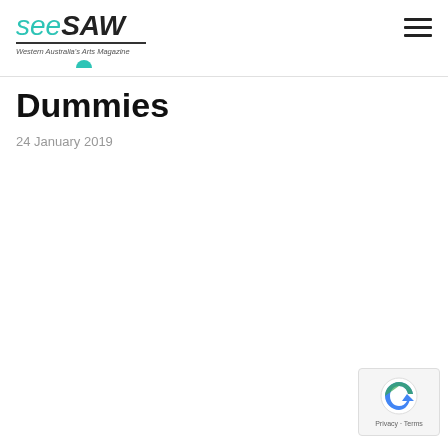seesaw — Western Australia's Arts Magazine
Dummies
24 January 2019
[Figure (logo): reCAPTCHA badge with Privacy and Terms links]